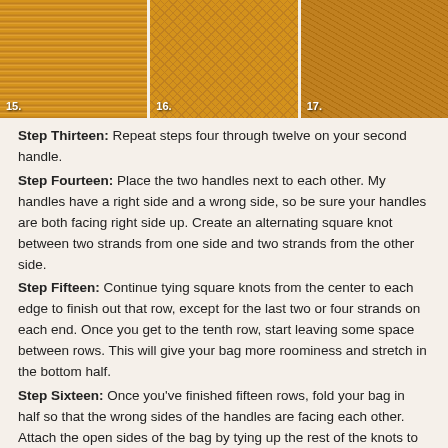[Figure (photo): Three photos of macrame/knotted bag handles in golden yellow/orange color. Photo 15 shows long fringe strands hanging down. Photo 16 shows a hand holding a net-like knotted piece. Photo 17 shows a close-up of the knotted mesh texture.]
Step Thirteen: Repeat steps four through twelve on your second handle.
Step Fourteen: Place the two handles next to each other. My handles have a right side and a wrong side, so be sure your handles are both facing right side up. Create an alternating square knot between two strands from one side and two strands from the other side.
Step Fifteen: Continue tying square knots from the center to each edge to finish out that row, except for the last two or four strands on each end. Once you get to the tenth row, start leaving some space between rows. This will give your bag more roominess and stretch in the bottom half.
Step Sixteen: Once you've finished fifteen rows, fold your bag in half so that the wrong sides of the handles are facing each other. Attach the open sides of the bag by tying up the rest of the knots to finish off the rows.
Step Seventeen: You can see how the knots are closer together